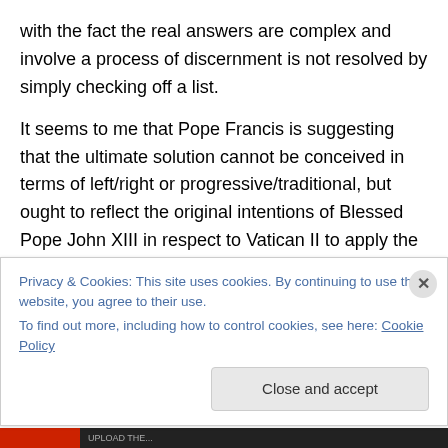with the fact the real answers are complex and involve a process of discernment is not resolved by simply checking off a list.
It seems to me that Pope Francis is suggesting that the ultimate solution cannot be conceived in terms of left/right or progressive/traditional, but ought to reflect the original intentions of Blessed Pope John XIII in respect to Vatican II to apply the perennial teachings of the Church in a new way to modern times.  This is the work of the Holy Spirit and it is creative, although it involves the risk of erring in
Privacy & Cookies: This site uses cookies. By continuing to use this website, you agree to their use.
To find out more, including how to control cookies, see here: Cookie Policy